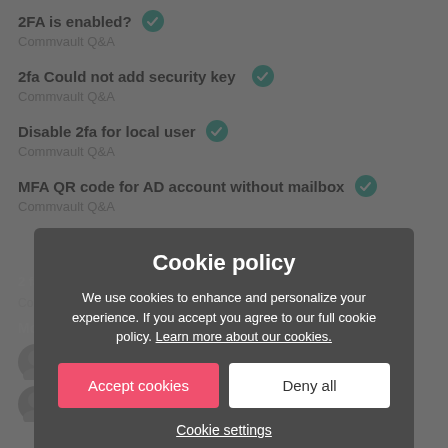2FA is enabled? ✓
Commvault Q&A
2fa Could not add security key ✓
Commvault Q&A
Disable 2fa for local user ✓
Commvault Q&A
MFA QR code for AD account without mailbox ✓
Commvault Q&A
2 factor authentication doesn't work with onetouch ✓
Commvault Q&A
Most helpful
Jos Me... 10 likes
Orino van den Berg
Cookie policy
We use cookies to enhance and personalize your experience. If you accept you agree to our full cookie policy. Learn more about our cookies.
Accept cookies
Deny all
Cookie settings